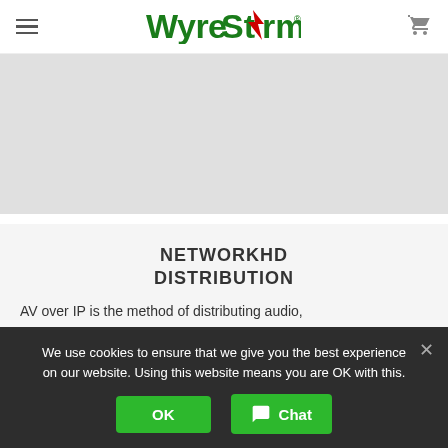[Figure (logo): WyreStorm logo in green with red lightning bolt arrow in the letter S]
[Figure (photo): Gray placeholder image area below the navigation header]
NETWORKHD DISTRIBUTION
AV over IP is the method of distributing audio,
We use cookies to ensure that we give you the best experience on our website. Using this website means you are OK with this.